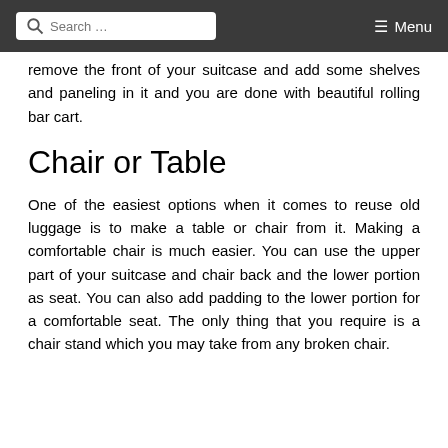Search … Menu
remove the front of your suitcase and add some shelves and paneling in it and you are done with beautiful rolling bar cart.
Chair or Table
One of the easiest options when it comes to reuse old luggage is to make a table or chair from it. Making a comfortable chair is much easier. You can use the upper part of your suitcase and chair back and the lower portion as seat. You can also add padding to the lower portion for a comfortable seat. The only thing that you require is a chair stand which you may take from any broken chair.